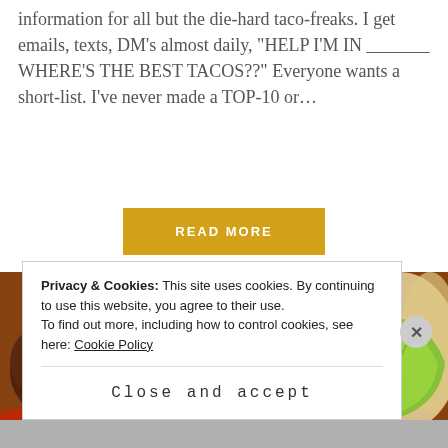information for all but the die-hard taco-freaks. I get emails, texts, DM’s almost daily, “HELP I’M IN _______ WHERE’S THE BEST TACOS??” Everyone wants a short-list. I’ve never made a TOP-10 or…
READ MORE
[Figure (photo): Close-up photograph of tacos with roasted scallops, grilled meat, cilantro, diced onions, and a lime wedge on a red plate.]
Privacy & Cookies: This site uses cookies. By continuing to use this website, you agree to their use.
To find out more, including how to control cookies, see here: Cookie Policy
Close and accept